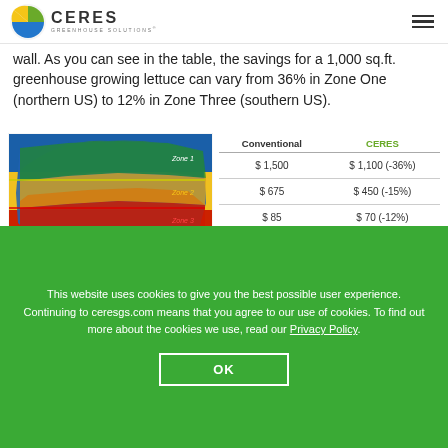Ceres Greenhouse Solutions
wall. As you can see in the table, the savings for a 1,000 sq.ft. greenhouse growing lettuce can vary from 36% in Zone One (northern US) to 12% in Zone Three (southern US).
[Figure (map): US map showing three climate zones: Zone 1 (northern US, blue/green), Zone 2 (middle US, yellow/orange), Zone 3 (southern US, red), with zone labels on the right side.]
| Conventional | CERES |
| --- | --- |
| $ 1,500 | $ 1,100 (-36%) |
| $ 675 | $ 450 (-15%) |
| $ 85 | $ 70 (-12%) |
Design + reflectivity = substantial savings
This website uses cookies to give you the best possible user experience. Continuing to ceresgs.com means that you agree to our use of cookies. To find out more about the cookies we use, read our Privacy Policy.
OK